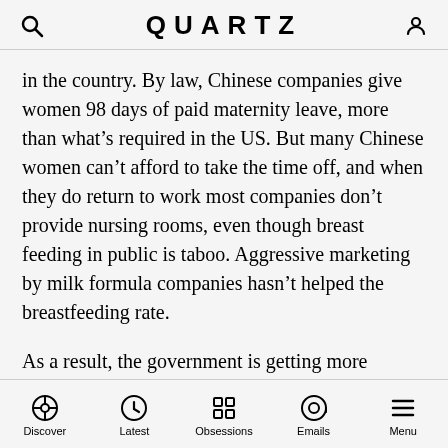QUARTZ
in the country. By law, Chinese companies give women 98 days of paid maternity leave, more than what’s required in the US. But many Chinese women can’t afford to take the time off, and when they do return to work most companies don’t provide nursing rooms, even though breast feeding in public is taboo. Aggressive marketing by milk formula companies hasn’t helped the breastfeeding rate.
As a result, the government is getting more aggressive. Last month, it teamed up with the United Nations Children’s fund to promote breastfeeding. Companies that have promised to support breastfeeding by their employees or customers include Baidu, one of China’s largest internet companies, and the Chinese operations
Discover  Latest  Obsessions  Emails  Menu